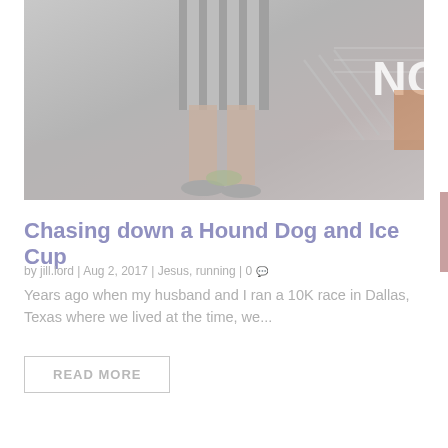[Figure (photo): A faded/washed out photograph of a person in a striped referee or sports jersey and shorts, photographed from torso down showing legs and feet near a finish line or sports field. Partially visible text 'NC' in upper right corner.]
Chasing down a Hound Dog and Ice Cup
by jill.lord | Aug 2, 2017 | Jesus, running | 0
Years ago when my husband and I ran a 10K race in Dallas, Texas where we lived at the time, we...
READ MORE